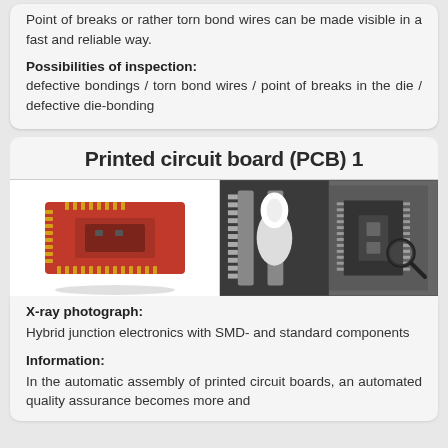Point of breaks or rather torn bond wires can be made visible in a fast and reliable way.
Possibilities of inspection:
defective bondings / torn bond wires / point of breaks in the die / defective die-bonding
Printed circuit board (PCB) 1
[Figure (photo): Left: photo of a red printed circuit board (PCB). Right: X-ray photograph of PCB showing SMD and standard components with a magnifier overlay icon.]
X-ray photograph: Hybrid junction electronics with SMD- and standard components
Information: In the automatic assembly of printed circuit boards, an automated quality assurance becomes more and